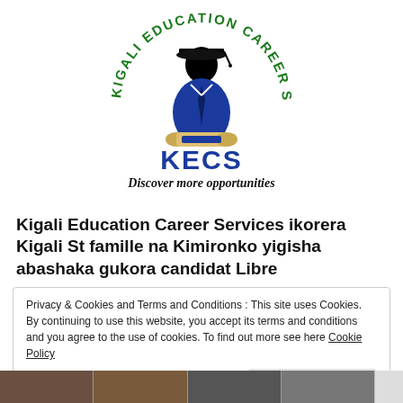[Figure (logo): Kigali Education Career Services (KECS) circular logo with green text reading 'KIGALI EDUCATION CAREER SERVICES' around the border, a blue figure in a suit holding a diploma scroll, wearing a black graduation cap, with 'KECS' in large blue letters and 'Discover more opportunities' in italic black text below]
Kigali Education Career Services ikorera Kigali St famille na Kimironko yigisha abashaka gukora candidat Libre
Privacy & Cookies and Terms and Conditions : This site uses Cookies. By continuing to use this website, you accept its terms and conditions and you agree to the use of cookies. To find out more see here Cookie Policy
Close and accept
[Figure (photo): Bottom strip showing partial photographs]